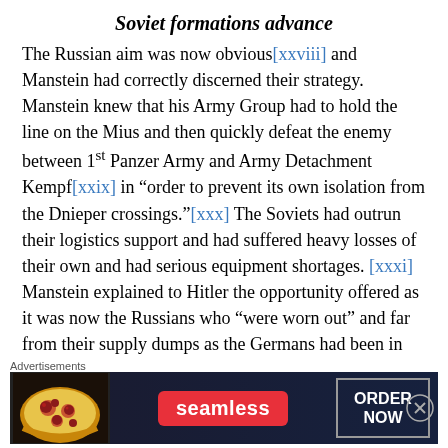Soviet formations advance
The Russian aim was now obvious[xxviii] and Manstein had correctly discerned their strategy. Manstein knew that his Army Group had to hold the line on the Mius and then quickly defeat the enemy between 1st Panzer Army and Army Detachment Kempf[xxix] in “order to prevent its own isolation from the Dnieper crossings.”[xxx] The Soviets had outrun their logistics support and had suffered heavy losses of their own and had serious equipment shortages. [xxxi] Manstein explained to Hitler the opportunity offered as it was now the Russians who “were worn out” and far from their supply dumps as the Germans had been in November 1942. Manstein “foresaw an opportunity to
[Figure (other): Advertisement banner for Seamless food delivery service with pizza image, Seamless logo, and ORDER NOW button]